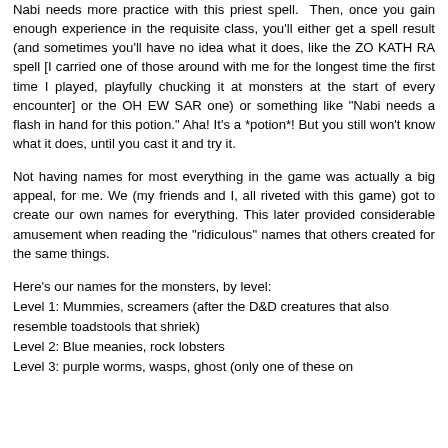Nabi needs more practice with this priest spell. Then, once you gain enough experience in the requisite class, you'll either get a spell result (and sometimes you'll have no idea what it does, like the ZO KATH RA spell [I carried one of those around with me for the longest time the first time I played, playfully chucking it at monsters at the start of every encounter] or the OH EW SAR one) or something like "Nabi needs a flash in hand for this potion." Aha! It's a *potion*! But you still won't know what it does, until you cast it and try it.
Not having names for most everything in the game was actually a big appeal, for me. We (my friends and I, all riveted with this game) got to create our own names for everything. This later provided considerable amusement when reading the "ridiculous" names that others created for the same things.
Here's our names for the monsters, by level:
Level 1: Mummies, screamers (after the D&D creatures that also resemble toadstools that shriek)
Level 2: Blue meanies, rock lobsters
Level 3: purple worms, wasps, ghost (only one of these on